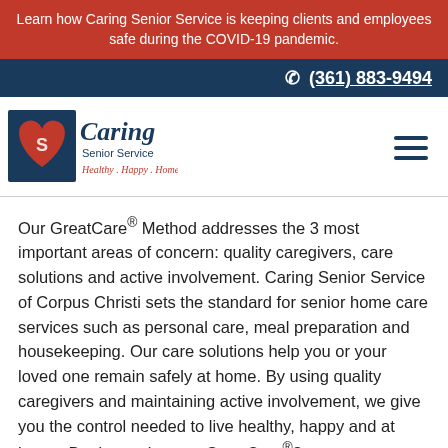Learn how Caring Senior Service is keeping clients and employees safe during the COVID-19 pandemic.
(361) 883-9494
[Figure (logo): Caring Senior Service logo with red heart and blue square, text: Caring Senior Service, Healthy . Happy . Home.]
Our GreatCare® Method addresses the 3 most important areas of concern: quality caregivers, care solutions and active involvement. Caring Senior Service of Corpus Christi sets the standard for senior home care services such as personal care, meal preparation and housekeeping. Our care solutions help you or your loved one remain safely at home. By using quality caregivers and maintaining active involvement, we give you the control needed to live healthy, happy and at home. Don’t you deserve GreatCare®?